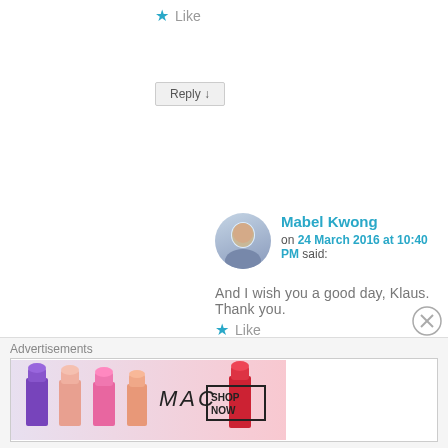★ Like
Reply ↓
Mabel Kwong
on 24 March 2016 at 10:40 PM said:
And I wish you a good day, Klaus. Thank you.
★ Like
Reply ↓
gageier
on 24 March 2016 at 11:38 PM said:
[Figure (illustration): MAC cosmetics advertisement banner showing lipsticks in purple, pink shades with MAC logo and SHOP NOW call to action]
Advertisements